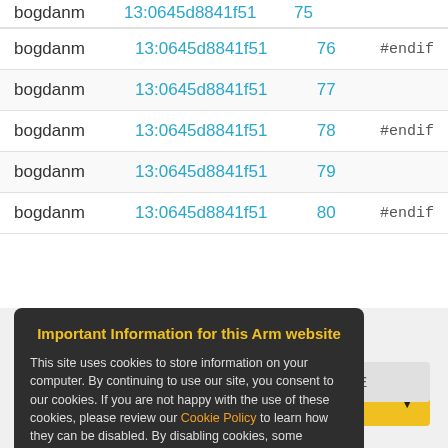| Author | Commit | Line | Code |
| --- | --- | --- | --- |
| bogdanm | 13:0645d8841f51 | 76 | #endif |
| bogdanm | 13:0645d8841f51 | 77 |  |
| bogdanm | 13:0645d8841f51 | 78 | #endif |
| bogdanm | 13:0645d8841f51 | 79 |  |
| bogdanm | 13:0645d8841f51 | 80 | #endif |
Important Information for this Arm website
This site uses cookies to store information on your computer. By continuing to use our site, you consent to our cookies. If you are not happy with the use of these cookies, please review our Cookie Policy to learn how they can be disabled. By disabling cookies, some features of the site will not work.
Accept and hide this message